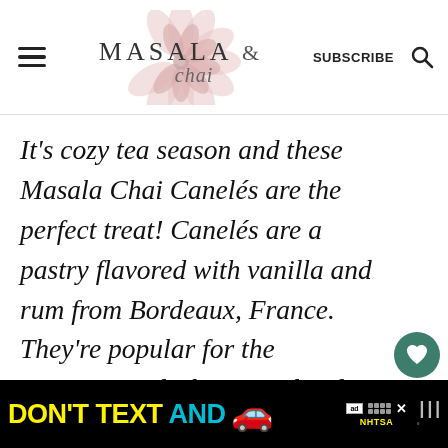MASALA & chai — SUBSCRIBE
It's cozy tea season and these Masala Chai Canelés are the perfect treat! Canelés are a pastry flavored with vanilla and rum from Bordeaux, France. They're popular for the contrasting dark caramelized exterior and soft custard interior that are a result of baking at high temperature. The crackling sound as you bite into them is so satisfying. The canelés
[Figure (other): DON'T TEXT AND drive advertisement banner with yellow text, cyan text, red car emoji, ad label, and NHTSA logo]